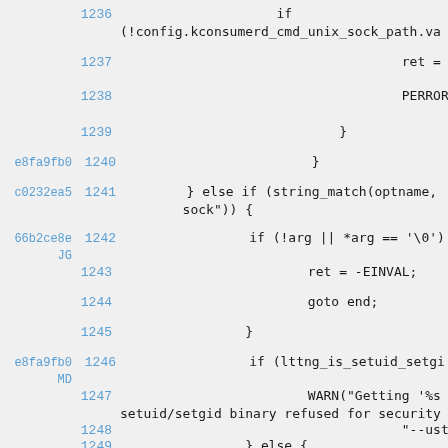Source code viewer showing lines 1236-1249 of a C source file with git blame annotations. Line numbers in blue, commit hashes in blue, code in dark text on light gray background.
1236: if (!config.kconsumerd_cmd_unix_sock_path.va
1237: ret = -EN
1238: PERROR("s
1239: }
e8fa9fb0 1240: }
c0232ea5 1241: } else if (string_match(optname, ... sock")) {
66b2ce8e JG 1242: if (!arg || *arg == '\0')
1243: ret = -EINVAL;
1244: goto end;
1245: }
e8fa9fb0 MD 1246: if (lttng_is_setuid_setgi
1247: WARN("Getting '%s setuid/setgid binary refused for security
1248: "--ustcon
1249: } else {